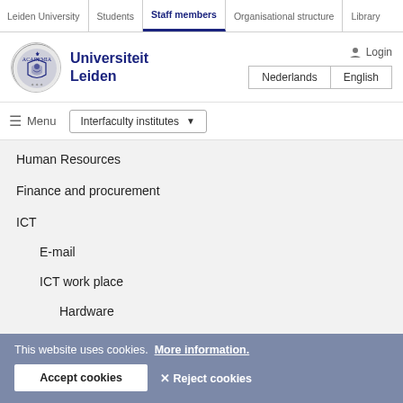Leiden University | Students | Staff members | Organisational structure | Library
[Figure (logo): Universiteit Leiden circular seal/crest logo]
Universiteit Leiden
Login
Nederlands | English
≡ Menu   Interfaculty institutes ▾
Human Resources
Finance and procurement
ICT
E-mail
ICT work place
Hardware
Printing and copying
Software and online tools
This website uses cookies.  More information.
Accept cookies   ✕ Reject cookies